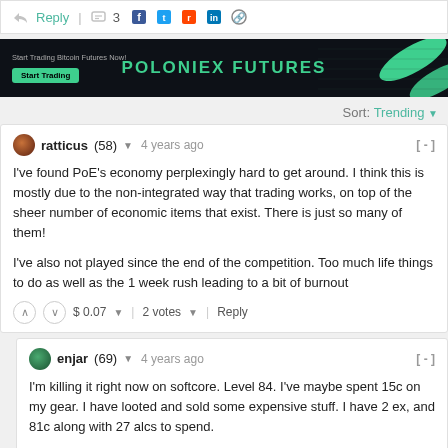Reply  | 💬 3  [social share icons]
[Figure (screenshot): Poloniex Futures advertisement banner with dark background and green branding]
Sort: Trending
ratticus (58) ▼  4 years ago  [ - ]
I've found PoE's economy perplexingly hard to get around. I think this is mostly due to the non-integrated way that trading works, on top of the sheer number of economic items that exist. There is just so many of them!

I've also not played since the end of the competition. Too much life things to do as well as the 1 week rush leading to a bit of burnout
$ 0.07 ▼  2 votes ▼  Reply
enjar (69) ▼  4 years ago  [ - ]
I'm killing it right now on softcore. Level 84. I've maybe spent 15c on my gear. I have looted and sold some expensive stuff. I have 2 ex, and 81c along with 27 alcs to spend.

There some pricy things I have my eye on. I can afforded them but I just can't bring my self to spend that much on a single item! This could be my...